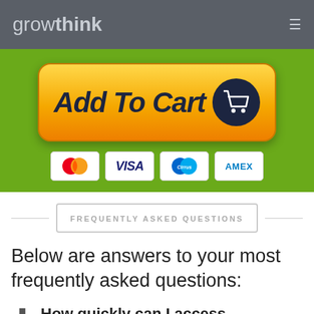growthink
[Figure (screenshot): Add To Cart button with orange gradient background and shopping cart icon, with payment method icons (Mastercard, Visa, Cirrus, AMEX) below]
FREQUENTLY ASKED QUESTIONS
Below are answers to your most frequently asked questions:
How quickly can I access Growthink's